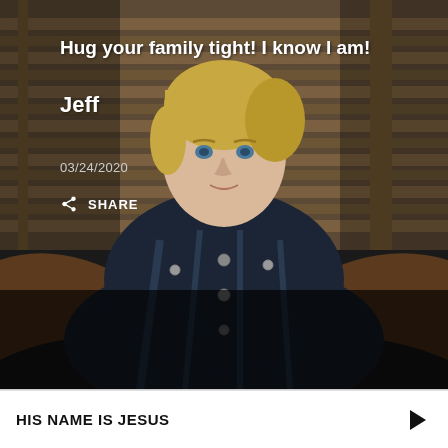[Figure (photo): A blonde man in a dark plaid shirt sitting on a wooden bench/chair outdoors, looking at the camera. The background shows wooden slat fencing. The lower portion of the image is dark/shadowed.]
Hug your family tight! I know I am!
Jeff
03/24/2020
SHARE
HIS NAME IS JESUS